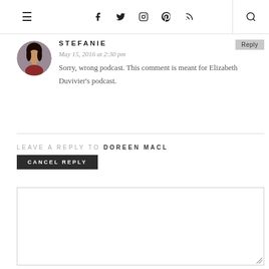≡  [nav icons: f, twitter, instagram, pinterest, rss]  [search]
[Figure (photo): Circular avatar photo of a young woman wearing a red top, with a grey skirt background. Used as comment author profile picture.]
STEFANIE
May 15, 2016 at 2:30 pm
Sorry, wrong podcast. This comment is meant for Elizabeth Duvivier's podcast.
LEAVE A REPLY TO DOREEN MACL
CANCEL REPLY